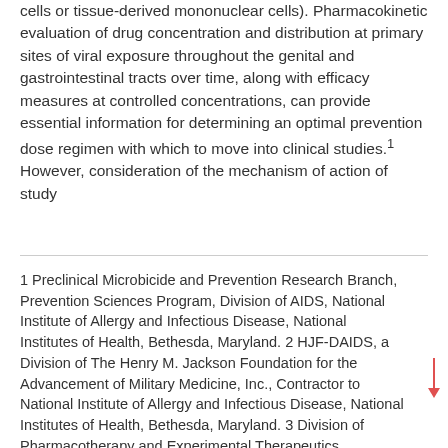cells or tissue-derived mononuclear cells). Pharmacokinetic evaluation of drug concentration and distribution at primary sites of viral exposure throughout the genital and gastrointestinal tracts over time, along with efficacy measures at controlled concentrations, can provide essential information for determining an optimal prevention dose regimen with which to move into clinical studies.1 However, consideration of the mechanism of action of study
1 Preclinical Microbicide and Prevention Research Branch, Prevention Sciences Program, Division of AIDS, National Institute of Allergy and Infectious Disease, National Institutes of Health, Bethesda, Maryland. 2 HJF-DAIDS, a Division of The Henry M. Jackson Foundation for the Advancement of Military Medicine, Inc., Contractor to National Institute of Allergy and Infectious Disease, National Institutes of Health, Bethesda, Maryland. 3 Division of Pharmacotherapy and Experimental Therapeutics, Eshelman School of Pharmacy, and UNC Center for AIDS Research, University of North Carolina at Chapel Hill, Chapel Hill, North Carolina.